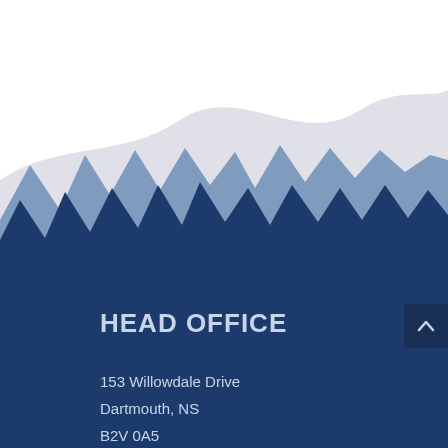[Figure (illustration): Decorative mountain/wave silhouette graphic in layered dark navy, medium blue-grey, and light grey tones over a white background, forming a zigzag mountain peak border. The bottom half of the page is a solid dark navy blue background.]
HEAD OFFICE
153 Willowdale Drive
Dartmouth, NS
B2V 0A5